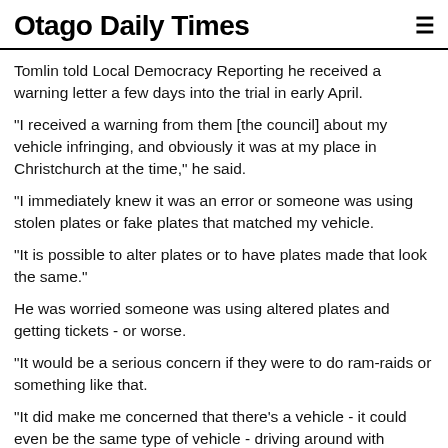Otago Daily Times
Tomlin told Local Democracy Reporting he received a warning letter a few days into the trial in early April.
"I received a warning from them [the council] about my vehicle infringing, and obviously it was at my place in Christchurch at the time," he said.
"I immediately knew it was an error or someone was using stolen plates or fake plates that matched my vehicle.
"It is possible to alter plates or to have plates made that look the same."
He was worried someone was using altered plates and getting tickets - or worse.
"It would be a serious concern if they were to do ram-raids or something like that.
"It did make me concerned that there's a vehicle - it could even be the same type of vehicle - driving around with potentially stolen or altered plates on it, due to getting that letter sent to me."